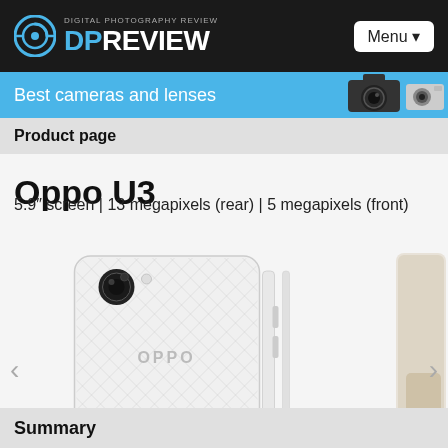DIGITAL PHOTOGRAPHY REVIEW DPREVIEW
Best cameras and lenses
Product page
Oppo U3
5.9″ screen | 13 megapixels (rear) | 5 megapixels (front)
[Figure (photo): Oppo U3 smartphone shown from rear and side views — white device with camera lens visible, OPPO branding, and slim profile side view]
Summary